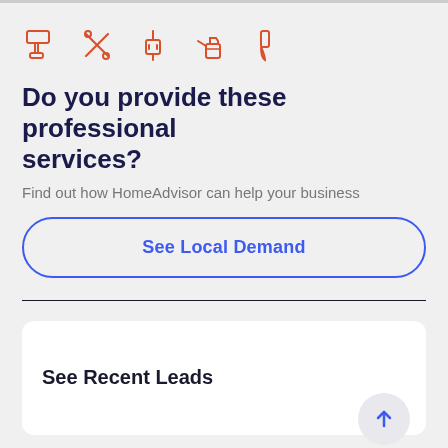[Figure (illustration): Five orange outline icons of home service tools: paint roller, crossed tools (hammer/screwdriver), electrical plug, spray bottle with bucket, and paint brush]
Do you provide these professional services?
Find out how HomeAdvisor can help your business
See Local Demand
See Recent Leads